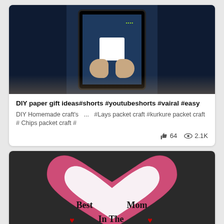[Figure (screenshot): Video thumbnail showing hands holding a white paper square, viewed on a phone screen against dark blue background]
DIY paper gift ideas#shorts #youtubeshorts #vairal #easy
DIY Homemade craft's  ...  #Lays packet craft #kurkure packet craft # Chips packet craft #
64  2.1K
[Figure (photo): Photo of a glittery pink heart shape with white inner area showing text 'Best Mom In The' with red hearts]